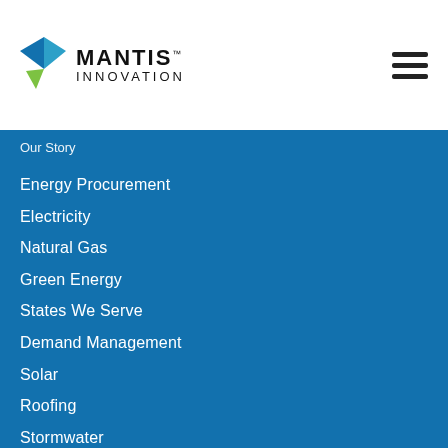[Figure (logo): Mantis Innovation logo with blue and green geometric shape and wordmark]
Our Story
Energy Procurement
Electricity
Natural Gas
Green Energy
States We Serve
Demand Management
Solar
Roofing
Stormwater
Building Envelope
Pavement
LED Lighting